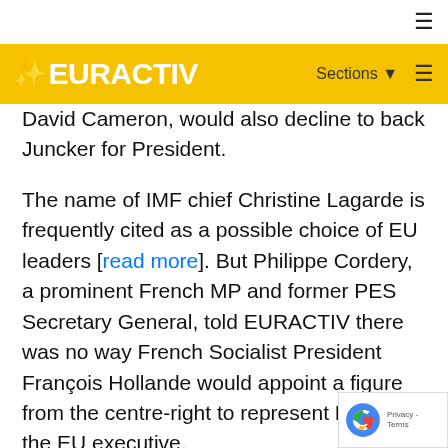EURACTIV — Sections ☰
David Cameron, would also decline to back Juncker for President.
The name of IMF chief Christine Lagarde is frequently cited as a possible choice of EU leaders [read more]. But Philippe Cordery, a prominent French MP and former PES Secretary General, told EURACTIV there was no way French Socialist President François Hollande would appoint a figure from the centre-right to represent France in the EU executive.
EU leaders are meeting on Tuesday evening (27 May) for an extraordinary summit in Brussels to discuss the aftermath of the European elections and the presidential election in Ukraine [read more].